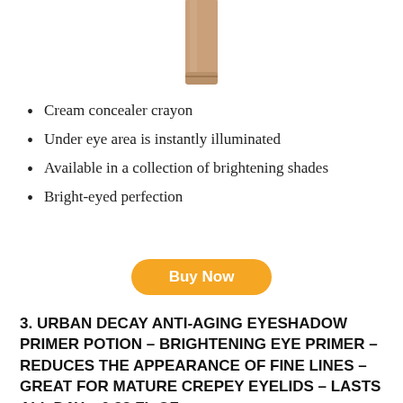[Figure (photo): Partial view of a cream concealer crayon product in rose gold/champagne color against white background, cropped at top]
Cream concealer crayon
Under eye area is instantly illuminated
Available in a collection of brightening shades
Bright-eyed perfection
Buy Now
3. URBAN DECAY ANTI-AGING EYESHADOW PRIMER POTION – BRIGHTENING EYE PRIMER – REDUCES THE APPEARANCE OF FINE LINES – GREAT FOR MATURE CREPEY EYELIDS – LASTS ALL DAY – 0.33 FL OZ